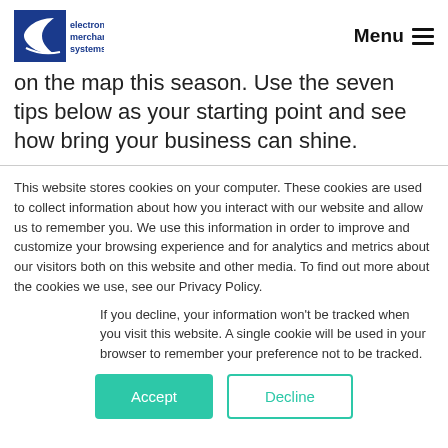electronic merchant systems — Menu
on the map this season. Use the seven tips below as your starting point and see how bring your business can shine.
This website stores cookies on your computer. These cookies are used to collect information about how you interact with our website and allow us to remember you. We use this information in order to improve and customize your browsing experience and for analytics and metrics about our visitors both on this website and other media. To find out more about the cookies we use, see our Privacy Policy.
If you decline, your information won't be tracked when you visit this website. A single cookie will be used in your browser to remember your preference not to be tracked.
Accept  Decline